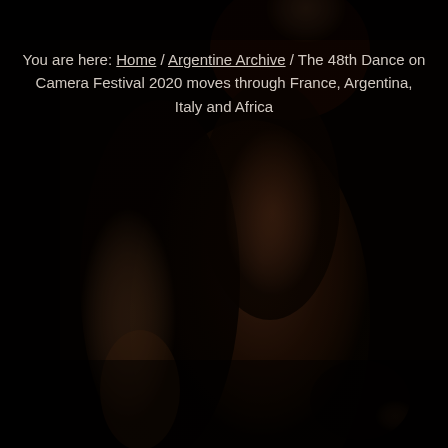[Figure (photo): Dark background photo of a dancer in motion wearing a black outfit, torso and arms visible, image blurred with very dark/black tones.]
You are here: Home / Argentine Archive / The 48th Dance on Camera Festival 2020 moves through France, Argentina, Italy and Africa